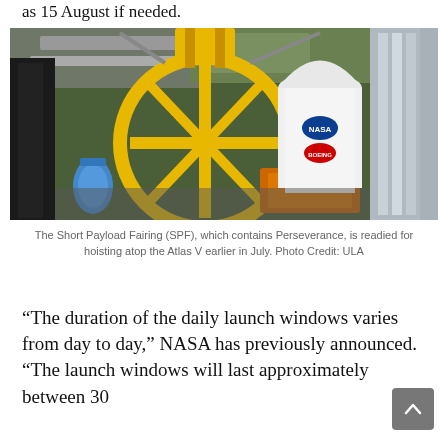as 15 August if needed.
[Figure (photo): Aerial view of the Short Payload Fairing (SPF) containing the Perseverance rover being readied for hoisting atop the Atlas V rocket. A large yellow crane structure is visible from above, along with the white rocket fairing bearing NASA and Boeing logos.]
The Short Payload Fairing (SPF), which contains Perseverance, is readied for hoisting atop the Atlas V earlier in July. Photo Credit: ULA
“The duration of the daily launch windows varies from day to day,” NASA has previously announced. “The launch windows will last approximately between 30